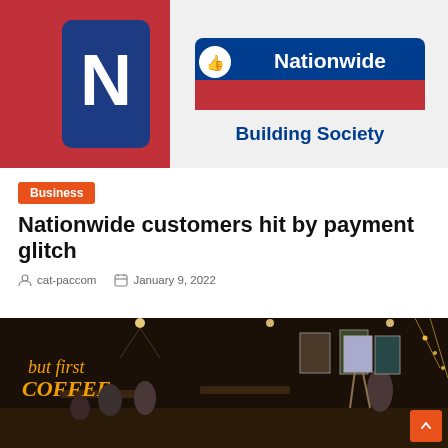[Figure (photo): Nationwide Building Society logo on a smartphone screen with red background. Blue banner with thumbs up icon and white text reading 'Nationwide Building Society'.]
Business
Nationwide customers hit by payment glitch
cat-paccom   January 9, 2022
[Figure (photo): Interior of a coffee shop with neon sign reading 'but first COFFEE'. People seated at tables, artwork displayed on walls, woman standing near an easel. Warm ambient lighting with decorative lights.]